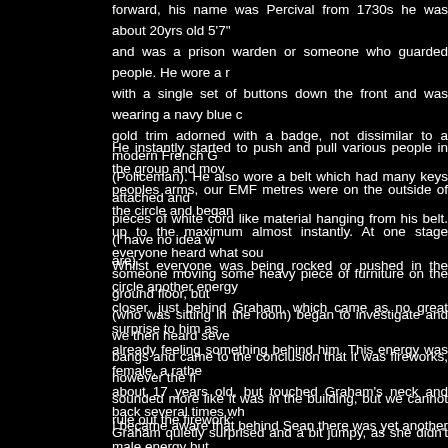forward, his name was Percival from 1730s he was about 20yrs old 5'7" and was a prison warden or someone who guarded people. He wore a r with a single set of buttons down the front and was wearing a navy blue c gold trim adorned with a badge, not dissimilar to a modern French G (Policeman). He also wore a belt which had many keys attached and pieces of white cord like material hanging from his belt. (I have no idea w are).
He instantly started to push and pull various people in the group and mov peoples arms, our EMF metres were on the outside of the circle and began up to the maximum almost instantly. At one stage everyone heard what sou someone moving some heavy piece of furniture on the ground floor, but (who was sitting in the room) began to investigate and we then heard seve bangs and came to the conclusion that it was fireworks, however the fi sounded more like it was in the building, but we cannot rule out the firework:
Whilst everyone was being rocked or pushed in the circle another energy closer, just behind Graham, which came as no great surprise to him as already feeling something behind him. This energy was female, a rathe about 17 years old, but touched Graham's neck and back several times wh Graham quietly surprised and a bit jumpy, as she didn't affect any oth During this time a spirit energy (I'm not sure who) touched my upper arm, were trying to squeeze past me. Louise also had an energy who was tou hair and head, Louise described it as if someone was running their fingers her hair, like a head massage.
I became aware that behind Sean there was yet another male energy but a nice energy, not because of any malice, but he was just unhappy a